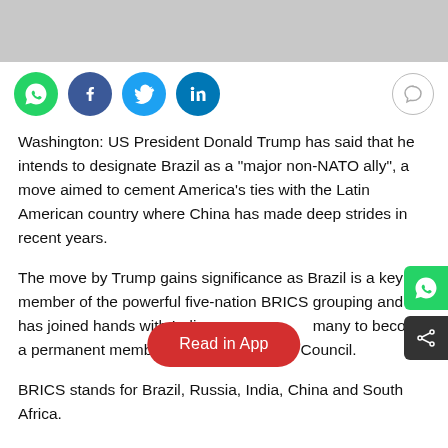[Figure (other): Gray top bar / browser chrome area]
[Figure (other): Social sharing icons bar: WhatsApp (green), Facebook (blue), Twitter (light blue), LinkedIn (dark blue), and a comment icon on the right]
Washington: US President Donald Trump has said that he intends to designate Brazil as a "major non-NATO ally", a move aimed to cement America's ties with the Latin American country where China has made deep strides in recent years.
The move by Trump gains significance as Brazil is a key member of the powerful five-nation BRICS grouping and has joined hands with India, [Read in App] many to become a permanent member of the UN Security Council.
BRICS stands for Brazil, Russia, India, China and South Africa.
Notably, Trump's America considers two of its members, Russia and China, as major threats to its national security, while it is